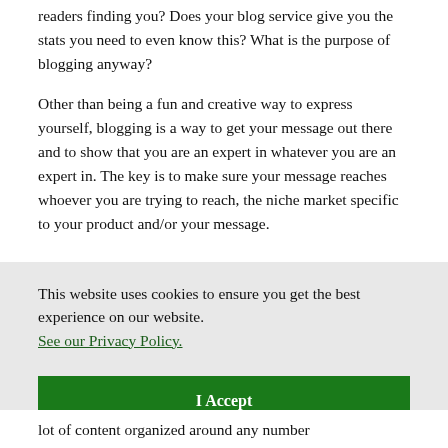readers finding you? Does your blog service give you the stats you need to even know this? What is the purpose of blogging anyway?
Other than being a fun and creative way to express yourself, blogging is a way to get your message out there and to show that you are an expert in whatever you are an expert in. The key is to make sure your message reaches whoever you are trying to reach, the niche market specific to your product and/or your message.
This website uses cookies to ensure you get the best experience on our website. See our Privacy Policy.
I Accept
lot of content organized around any number